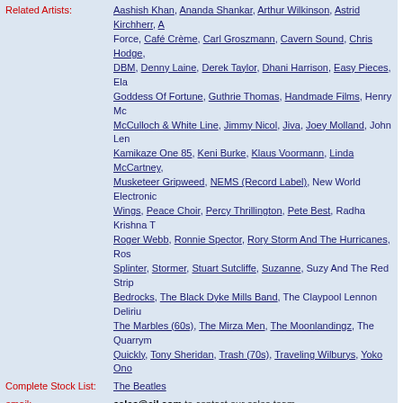| Label | Value |
| --- | --- |
| Related Artists: | Aashish Khan, Ananda Shankar, Arthur Wilkinson, Astrid Kirchherr, A... Force, Café Crème, Carl Groszmann, Cavern Sound, Chris Hodge, DBM, Denny Laine, Derek Taylor, Dhani Harrison, Easy Pieces, Ela... Goddess Of Fortune, Guthrie Thomas, Handmade Films, Henry Mc... McCulloch & White Line, Jimmy Nicol, Jiva, Joey Molland, John Len... Kamikaze One 85, Keni Burke, Klaus Voormann, Linda McCartney, Musketeer Gripweed, NEMS (Record Label), New World Electronic... Wings, Peace Choir, Percy Thrillington, Pete Best, Radha Krishna T... Roger Webb, Ronnie Spector, Rory Storm And The Hurricanes, Ros... Splinter, Stormer, Stuart Sutcliffe, Suzanne, Suzy And The Red Strip... Bedrocks, The Black Dyke Mills Band, The Claypool Lennon Deliriu... The Marbles (60s), The Mirza Men, The Moonlandingz, The Quarrym... Quickly, Tony Sheridan, Trash (70s), Traveling Wilburys, Yoko Ono |
| Complete Stock List: | The Beatles |
| email: | sales@eil.com to contact our sales team. |
| Alternative Names: | LES BEATLES,LOS BEATLES,DIE BEATLES,FAB FOUR |
| To order by phone: | Call 011-44-01474 815010 quoting EIL.COM reference number BTL |
Something you may also be interested in
More New Releases, Reissues, Online Only & Deluxe Editions
Whitesnake / Greatest Hits - Revisited Remixed Remastered MMXXII - Red Vinyl - Sealed / UK / 2-LP vinyl set
More New Releases, Reissues, Online Only & Deluxe Editions
Elvis Costello / Deep Dead Blue - Translucent Blue 180 Gram Vinyl - vinyl LP
[Figure (photo): Whitesnake Greatest Hits album cover - black background with stylized text]
[Figure (photo): Elvis Costello album cover - black background with yellow text]